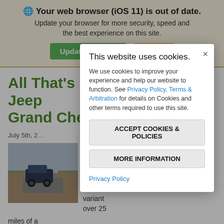🌐 Your web browser (iOS 11) is out of date. Update your browser for more security, speed and the best experience on this site.
All That's New on the 2023 Jeep Grand Cherokee 4xe
July 5th, 2...
[Figure (photo): Photo of a Jeep Grand Cherokee on a road in a dry landscape]
d Jeep herokee he 2022 s its Zero haker is variant over 25
miles of a
This website uses cookies.
We use cookies to improve your experience and help our website to function. See Privacy Policy, Terms & Arbitration for details on Cookies and other terms required to use this site.
ACCEPT COOKIES & POLICIES
MORE INFORMATION
Privacy Policy